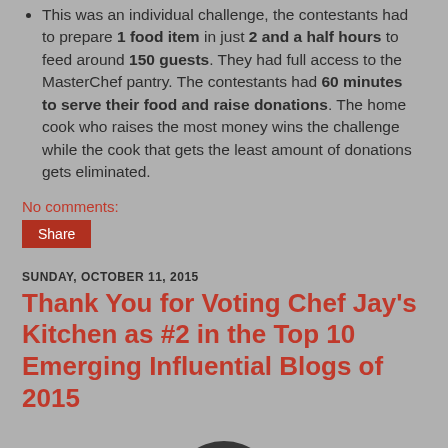This was an individual challenge, the contestants had to prepare 1 food item in just 2 and a half hours to feed around 150 guests. They had full access to the MasterChef pantry. The contestants had 60 minutes to serve their food and raise donations. The home cook who raises the most money wins the challenge while the cook that gets the least amount of donations gets eliminated.
No comments:
Share
SUNDAY, OCTOBER 11, 2015
Thank You for Voting Chef Jay's Kitchen as #2 in the Top 10 Emerging Influential Blogs of 2015
[Figure (photo): Partial circular logo or emblem visible at the bottom of the page]